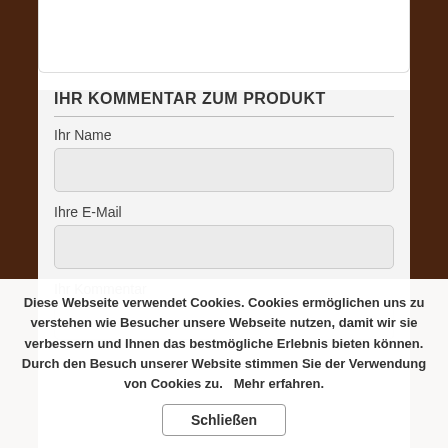IHR KOMMENTAR ZUM PRODUKT
Ihr Name
Ihre E-Mail
Ihr Kommentar
Diese Webseite verwendet Cookies. Cookies ermöglichen uns zu verstehen wie Besucher unsere Webseite nutzen, damit wir sie verbessern und Ihnen das bestmögliche Erlebnis bieten können. Durch den Besuch unserer Website stimmen Sie der Verwendung von Cookies zu.   Mehr erfahren.
Schließen